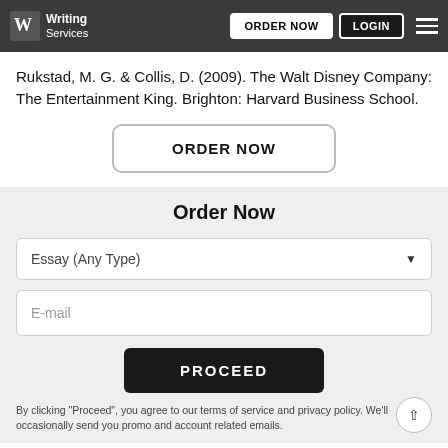Writing Services | ORDER NOW | LOGIN
Rukstad, M. G. & Collis, D. (2009). The Walt Disney Company: The Entertainment King. Brighton: Harvard Business School.
ORDER NOW
Order Now
Essay (Any Type)
E-mail
PROCEED
By clicking "Proceed", you agree to our terms of service and privacy policy. We'll occasionally send you promo and account related emails.